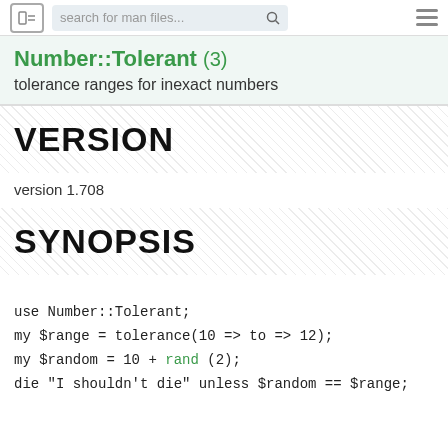search for man files...
Number::Tolerant (3)
tolerance ranges for inexact numbers
VERSION
version 1.708
SYNOPSIS
use Number::Tolerant;
my $range = tolerance(10 => to => 12);
my $random = 10 + rand (2);
die "I shouldn't die" unless $random == $range;